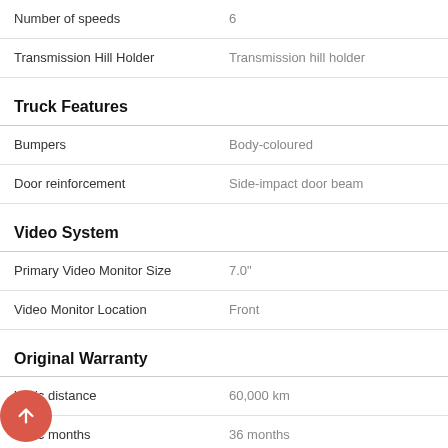| Feature | Value |
| --- | --- |
| Number of speeds | 6 |
| Transmission Hill Holder | Transmission hill holder |
Truck Features
| Feature | Value |
| --- | --- |
| Bumpers | Body-coloured |
| Door reinforcement | Side-impact door beam |
Video System
| Feature | Value |
| --- | --- |
| Primary Video Monitor Size | 7.0" |
| Video Monitor Location | Front |
Original Warranty
| Feature | Value |
| --- | --- |
| basic distance | 60,000 km |
| basic months | 36 months |
| drivetrain distance | 100,000 km |
| drivetrain months | 60 months |